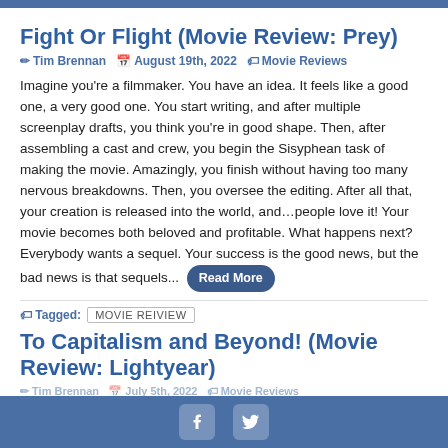Fight Or Flight (Movie Review: Prey)
Tim Brennan  August 19th, 2022  Movie Reviews
Imagine you're a filmmaker. You have an idea. It feels like a good one, a very good one. You start writing, and after multiple screenplay drafts, you think you're in good shape. Then, after assembling a cast and crew, you begin the Sisyphean task of making the movie. Amazingly, you finish without having too many nervous breakdowns. Then, you oversee the editing. After all that, your creation is released into the world, and…people love it! Your movie becomes both beloved and profitable. What happens next? Everybody wants a sequel. Your success is the good news, but the bad news is that sequels... Read More
Tagged: MOVIE REIVIEW
To Capitalism and Beyond! (Movie Review: Lightyear)
Tim Brennan  July 5th, 2022  Movie Reviews